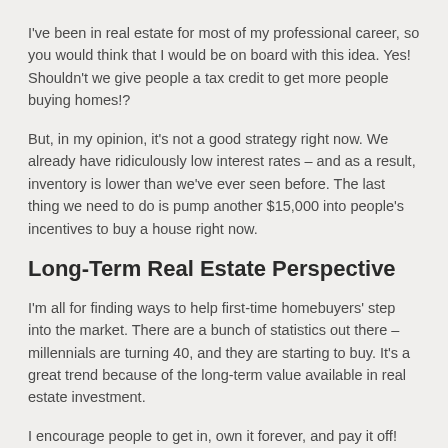I've been in real estate for most of my professional career, so you would think that I would be on board with this idea. Yes! Shouldn't we give people a tax credit to get more people buying homes!?
But, in my opinion, it's not a good strategy right now. We already have ridiculously low interest rates – and as a result, inventory is lower than we've ever seen before. The last thing we need to do is pump another $15,000 into people's incentives to buy a house right now.
Long-Term Real Estate Perspective
I'm all for finding ways to help first-time homebuyers' step into the market. There are a bunch of statistics out there – millennials are turning 40, and they are starting to buy. It's a great trend because of the long-term value available in real estate investment.
I encourage people to get in, own it forever, and pay it off! That house will take care of you in retirement.
Supply and Demand in the Real Estate Market